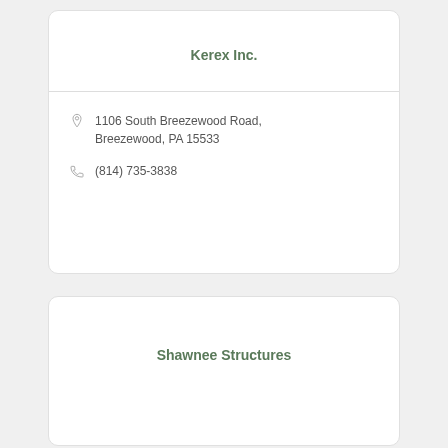Kerex Inc.
1106 South Breezewood Road, Breezewood, PA 15533
(814) 735-3838
Shawnee Structures